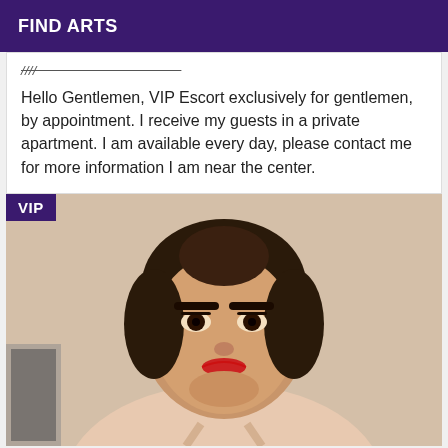FIND ARTS
Hello Gentlemen, VIP Escort exclusively for gentlemen, by appointment. I receive my guests in a private apartment. I am available every day, please contact me for more information I am near the center.
[Figure (photo): Portrait photo of a young woman with dark hair pulled back, wearing a nude/beige top, with red lipstick, looking directly at the camera. A purple 'VIP' badge is overlaid in the top-left corner.]